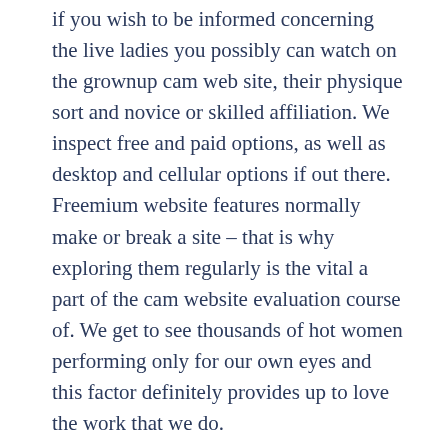if you wish to be informed concerning the live ladies you possibly can watch on the grownup cam web site, their physique sort and novice or skilled affiliation. We inspect free and paid options, as well as desktop and cellular options if out there. Freemium website features normally make or break a site – that is why exploring them regularly is the vital a part of the cam website evaluation course of. We get to see thousands of hot women performing only for our own eyes and this factor definitely provides up to love the work that we do.
You can see their location, name, size, kinks, pictures, and rather more. Some of our more superior users use this data as a talking level when entering a brand new intercourse cam chat. Connect with a new video chat with out leaving the chat room by making use of our unique random sex chat perform. Join and chat for free